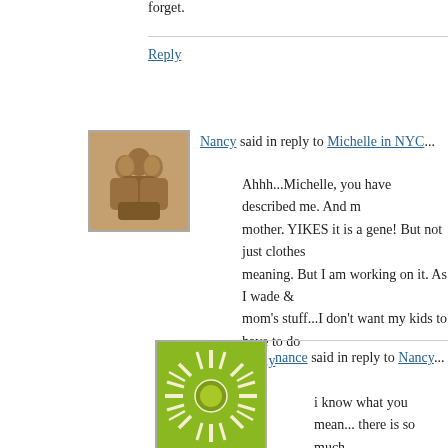forget.
Reply
[Figure (photo): Avatar of user Nancy — terracotta figurines]
Nancy said in reply to Michelle in NYC...
Ahhh...Michelle, you have described me. And my mother. YIKES it is a gene! But not just clothes meaning. But I am working on it. As I wade & mom's stuff...I don't want my kids to have to do
Reply
[Figure (illustration): Avatar of user nance — green sunburst graphic]
nance said in reply to Nancy...
i know what you mean... there is so much house that it literally scares me! i see my good side either!